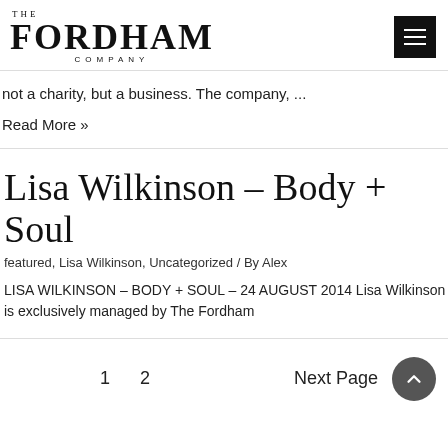THE FORDHAM COMPANY
not a charity, but a business. The company, ...
Read More »
Lisa Wilkinson – Body + Soul
featured, Lisa Wilkinson, Uncategorized / By Alex
LISA WILKINSON – BODY + SOUL – 24 AUGUST 2014 Lisa Wilkinson is exclusively managed by The Fordham
1  2  Next Page